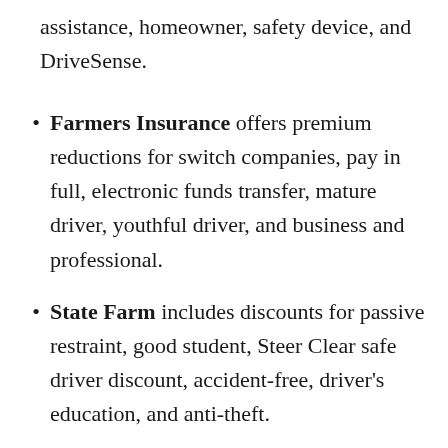assistance, homeowner, safety device, and DriveSense.
Farmers Insurance offers premium reductions for switch companies, pay in full, electronic funds transfer, mature driver, youthful driver, and business and professional.
State Farm includes discounts for passive restraint, good student, Steer Clear safe driver discount, accident-free, driver's education, and anti-theft.